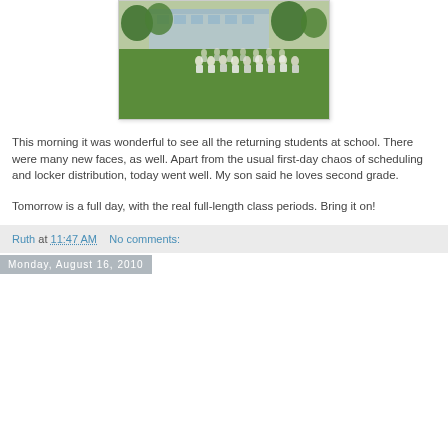[Figure (photo): Students sitting on grass in front of a school building, lined up in rows outdoors]
This morning it was wonderful to see all the returning students at school. There were many new faces, as well. Apart from the usual first-day chaos of scheduling and locker distribution, today went well. My son said he loves second grade.
Tomorrow is a full day, with the real full-length class periods. Bring it on!
Ruth at 11:47 AM    No comments:
Monday, August 16, 2010